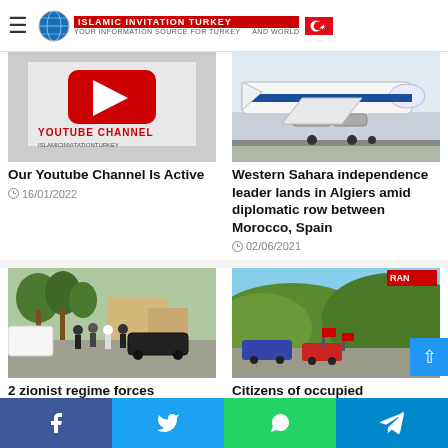Islamic Invitation Turkey
[Figure (screenshot): YouTube Channel promotional image with red YouTube play button logo and text 'YOUTUBE CHANNEL']
Our Youtube Channel Is Active
16/01/2022
[Figure (photo): Private jet aircraft on tarmac, white and blue colors]
Western Sahara independence leader lands in Algiers amid diplomatic row between Morocco, Spain
02/06/2021
[Figure (photo): Street scene with police officers and people on a residential street with trees and parked vehicles]
2 zionist regime forces
[Figure (photo): Hillside scene with green hills, road with vehicles and flags visible, news channel watermark in top right]
Citizens of occupied